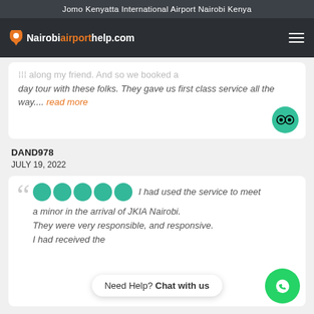Jomo Kenyatta International Airport Nairobi Kenya
[Figure (logo): Nairobiairporthelp.com logo with orange map pin icon and hamburger menu]
...day tour with these folks. They gave us first class service all the way.... read more
DAND978
JULY 19, 2022
I had used the service to meet a minor in the arrival of JKIA Nairobi. They were very responsible, and responsive. I had received the
Need Help? Chat with us